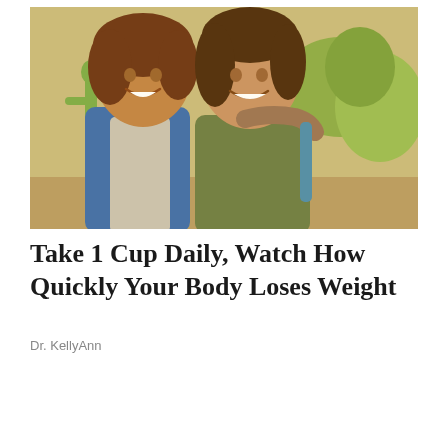[Figure (photo): Two smiling women posing outdoors together in a sunny desert/nature setting with cacti and green shrubs in the background. The woman on the left has curly dark hair and wears a blue denim vest over a light gray top. The woman on the right has dark shoulder-length hair and wears an olive green t-shirt. Both appear happy and are close together with an arm around each other.]
Take 1 Cup Daily, Watch How Quickly Your Body Loses Weight
Dr. KellyAnn